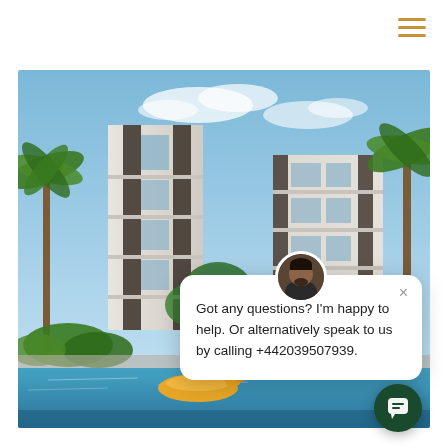[Figure (photo): Luxury residential apartment complex with pool, palm trees, balconies, and tropical landscaping]
Got any questions? I'm happy to help. Or alternatively speak to us by calling +442039507939.